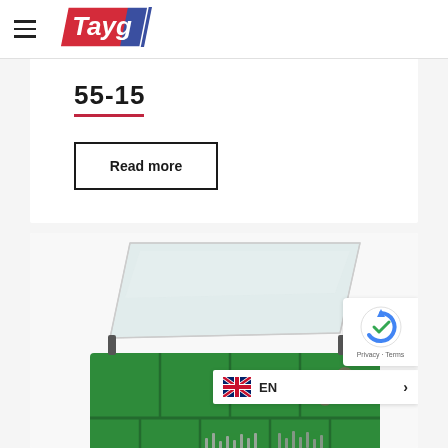[Figure (logo): Tayg brand logo - stylized text 'Tayg' in red/blue parallelogram shape]
55-15
Read more
[Figure (photo): Green plastic parts organizer/storage box with transparent lid open, containing various screws, nuts and small hardware items in compartments]